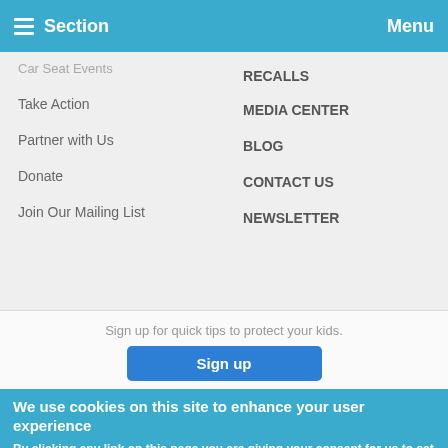Section   Menu
Car Seat Events
Take Action
Partner with Us
Donate
Join Our Mailing List
RECALLS
MEDIA CENTER
BLOG
CONTACT US
NEWSLETTER
Sign up for quick tips to protect your kids.
Sign up
We use cookies on this site to enhance your user experience
By clicking any link on this page you are giving your consent for us to set cookies. No, give me more info
62 SHARES